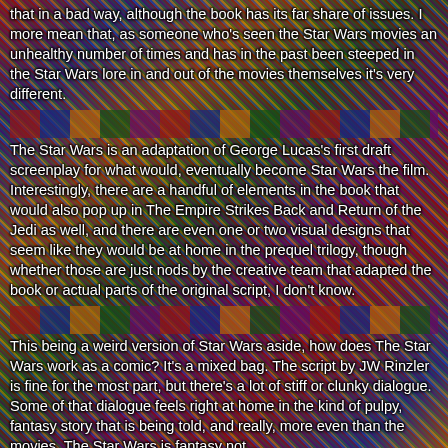that in a bad way, although the book has its far share of issues. I more mean that, as someone who's seen the Star Wars movies an unhealthy number of times and has in the past been steeped in the Star Wars lore in and out of the movies themselves it's very different.
The Star Wars is an adaptation of George Lucas's first draft screenplay for what would, eventually become Star Wars the film. Interestingly, there are a handful of elements in the book that would also pop up in The Empire Strikes Back and Return of the Jedi as well, and there are even one or two visual designs that seem like they would be at home in the prequel trilogy, though whether those are just nods by the creative team that adapted the book or actual parts of the original script, I don't know.
This being a weird version of Star Wars aside, how does The Star Wars work as a comic? It's a mixed bag. The script by JW Rinzler is fine for the most part, but there's a lot of stiff or clunky dialogue. Some of that dialogue feels right at home in the kind of pulpy, fantasy story that is being told, and really, more even than the movies, The Star Wars is fantasy not...